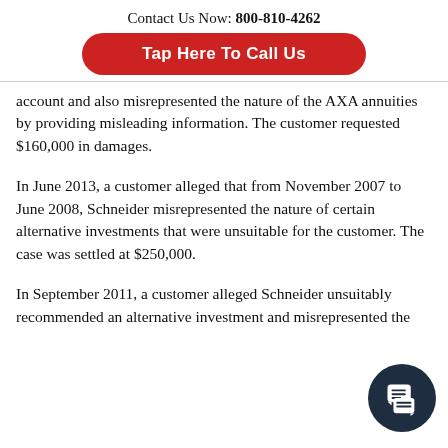Contact Us Now: 800-810-4262
Tap Here To Call Us
account and also misrepresented the nature of the AXA annuities by providing misleading information. The customer requested $160,000 in damages.
In June 2013, a customer alleged that from November 2007 to June 2008, Schneider misrepresented the nature of certain alternative investments that were unsuitable for the customer. The case was settled at $250,000.
In September 2011, a customer alleged Schneider unsuitably recommended an alternative investment and misrepresented the